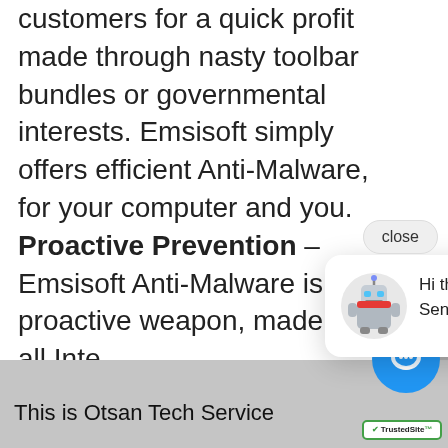customers for a quick profit made through nasty toolbar bundles or governmental interests. Emsisoft simply offers efficient Anti-Malware, for your computer and you. Proactive Prevention – Emsisoft Anti-Malware is a proactive weapon, made t[o protect] all Inte[rnet users] from w[eb threats,] data-[driven] theft.
[Figure (screenshot): Chat popup overlay with robot avatar and text 'Hi there, have a question? Send Us a message here.' with a close button]
[Figure (other): Blue circular chat trigger button with speech bubble icon]
This is Otsan Tech Service
[Figure (logo): TrustedSite badge with green checkmark]